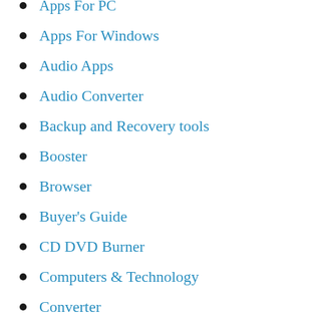Apps For PC
Apps For Windows
Audio Apps
Audio Converter
Backup and Recovery tools
Booster
Browser
Buyer's Guide
CD DVD Burner
Computers & Technology
Converter
converter apps
Data Analysis
Data Recovery
Data Transfer
Designer
Developer Tool